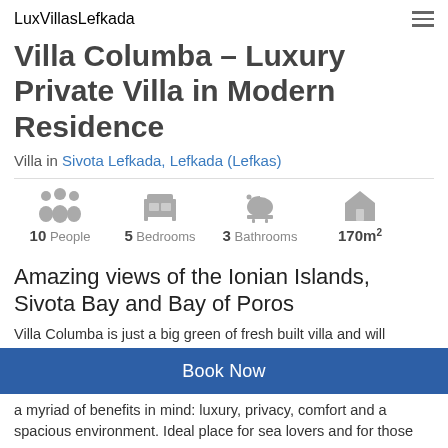LuxVillasLefkada
Villa Columba - Luxury Private Villa in Modern Residence
Villa in Sivota Lefkada, Lefkada (Lefkas)
[Figure (infographic): Property amenity icons: 10 People, 5 Bedrooms, 3 Bathrooms, 170m²]
Amazing views of the Ionian Islands, Sivota Bay and Bay of Poros
Villa Columba is just a big green of fresh built villa and will
Book Now
a myriad of benefits in mind: luxury, privacy, comfort and a spacious environment. Ideal place for sea lovers and for those